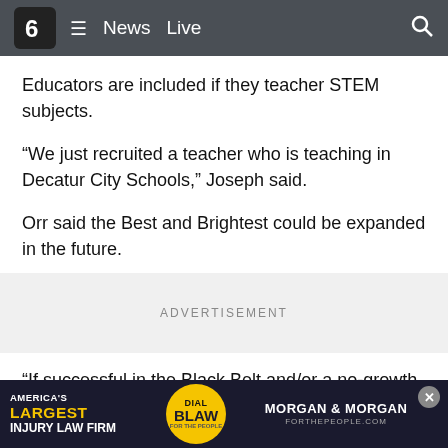6 ≡ News  Live  🔍
Educators are included if they teacher STEM subjects.
“We just recruited a teacher who is teaching in Decatur City Schools,” Joseph said.
Orr said the Best and Brightest could be expanded in the future.
ADVERTISEMENT
“If successful in the Black Belt and/or a no-growth city like Decatur, there is no reason it can’t be expanded to similarly struggling cities like Florence...” he
[Figure (other): Advertisement bar: America's Largest Injury Law Firm / Dial Blaw / Morgan & Morgan For The People]